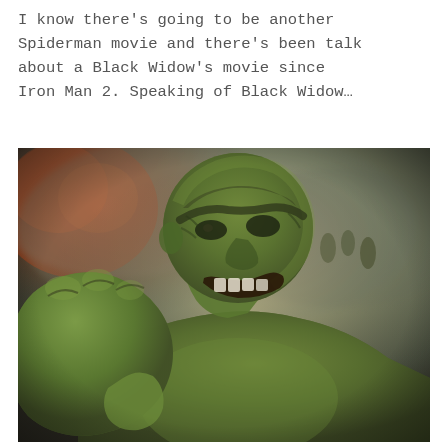I know there's going to be another Spiderman movie and there's been talk about a Black Widow's movie since Iron Man 2. Speaking of Black Widow…
[Figure (photo): Close-up photo of the Hulk (green superhero character) from a Marvel movie, appearing to be Avengers: Age of Ultron. The Hulk is shown from the chest up, looking upward with an angry/fierce expression, fist raised. Background shows smoke and fire with small figures visible in the distance.]